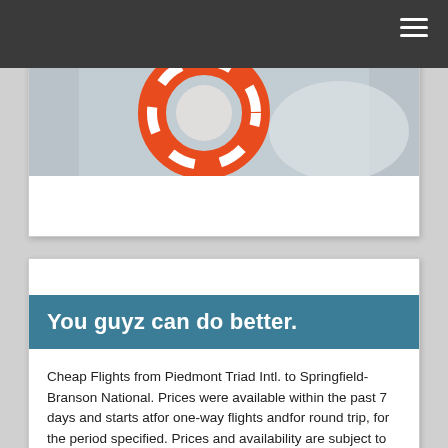Navigation bar with hamburger menu
[Figure (photo): Partial photo showing a red and white life ring/buoy on a light grey background, cropped at top.]
You guyz can do better.
Cheap Flights from Piedmont Triad Intl. to Springfield-Branson National. Prices were available within the past 7 days and starts atfor one-way flights andfor round trip, for the period specified. Prices and availability are subject to change. Additional terms apply. All bookplanetickets.uses Serving: American Airlines, Delta, United. Find the